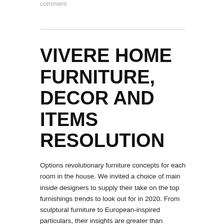comment
VIVERE HOME FURNITURE, DECOR AND ITEMS RESOLUTION
Options revolutionary furniture concepts for each room in the house. We invited a choice of main inside designers to supply their take on the top furnishings trends to look out for in 2020. From sculptural furniture to European-inspired particulars, their insights are greater than sufficient inspiration